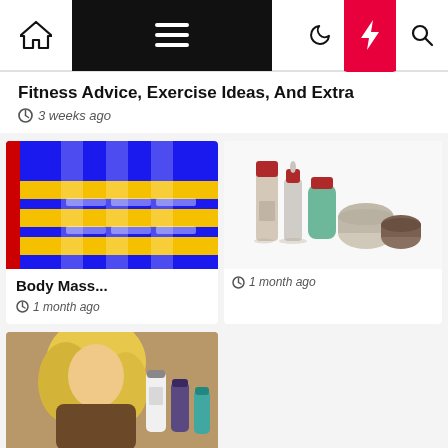Navigation bar with home, menu, moon, lightning bolt, and search icons
Fitness Advice, Exercise Ideas, And Extra
3 weeks ago
[Figure (photo): BMI chart or fitness equipment image with blue and yellow tones]
Body Mass...
1 month ago
[Figure (photo): Skincare product bottles and jars with red caps on white background]
1 month ago
[Figure (photo): Woman with curly blonde hair holding beauty/body care products]
Pure bo_
2 months